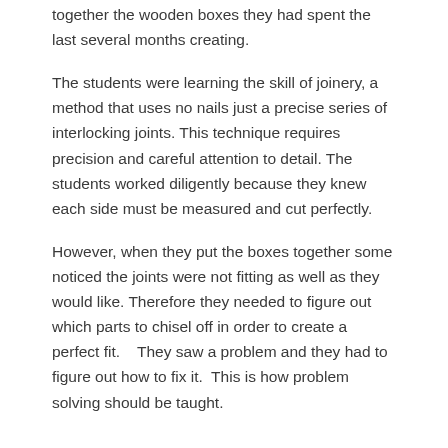together the wooden boxes they had spent the last several months creating.
The students were learning the skill of joinery, a method that uses no nails just a precise series of interlocking joints. This technique requires precision and careful attention to detail. The students worked diligently because they knew each side must be measured and cut perfectly.
However, when they put the boxes together some noticed the joints were not fitting as well as they would like. Therefore they needed to figure out which parts to chisel off in order to create a perfect fit.   They saw a problem and they had to figure out how to fix it.  This is how problem solving should be taught.